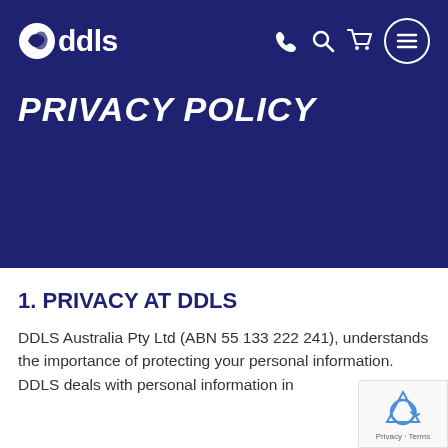DDLS (logo) | navigation icons: phone, search, cart, menu
PRIVACY POLICY
1. PRIVACY AT DDLS
DDLS Australia Pty Ltd (ABN 55 133 222 241), understands the importance of protecting your personal information. DDLS deals with personal information in